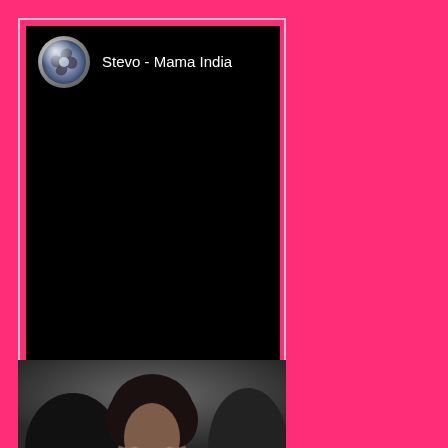[Figure (screenshot): A mobile app card with hot pink background showing a video thumbnail. The thumbnail is black with a metallic swirling logo icon and text 'Stevo - Mama India' in white at the top. The card has a white border outline.]
[Figure (photo): Bottom portion of page showing a partial photo of a young person with dark curly hair against a dark gray background, cropped at the bottom edge of the page.]